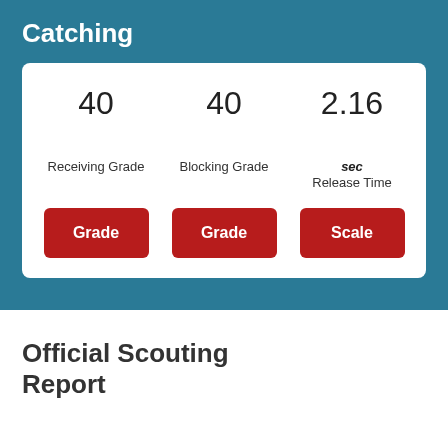Catching
40
Receiving Grade

40
Blocking Grade

2.16
sec
Release Time
Grade | Grade | Scale
Official Scouting Report